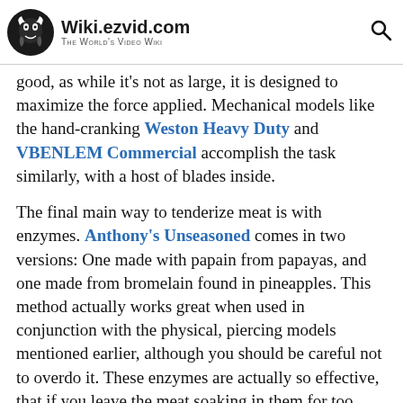Wiki.ezvid.com – The World's Video Wiki
good, as while it's not as large, it is designed to maximize the force applied. Mechanical models like the hand-cranking Weston Heavy Duty and VBENLEM Commercial accomplish the task similarly, with a host of blades inside.
The final main way to tenderize meat is with enzymes. Anthony's Unseasoned comes in two versions: One made with papain from papayas, and one made from bromelain found in pineapples. This method actually works great when used in conjunction with the physical, piercing models mentioned earlier, although you should be careful not to overdo it. These enzymes are actually so effective, that if you leave the meat soaking in them for too long, they'll turn it into an inedible mush.